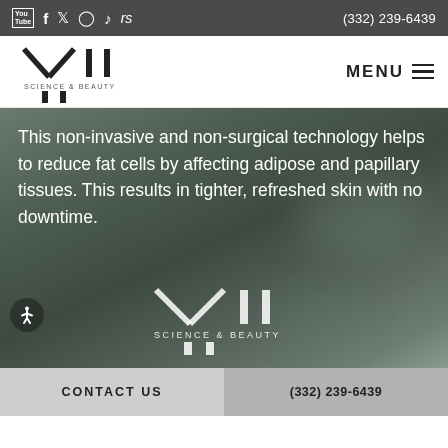Social icons: YouTube, Facebook, Twitter, Instagram, TikTok, rs | (332) 239-6439
[Figure (logo): VII Science & Beauty logo in black on white navigation bar with MENU hamburger icon]
This non-invasive and non-surgical technology helps to reduce fat cells by affecting adipose and papillary tissues. This results in tighter, refreshed skin with no downtime.
[Figure (logo): VII Science & Beauty logo in white, centered over blurred background]
CONTACT US | (332) 239-6439